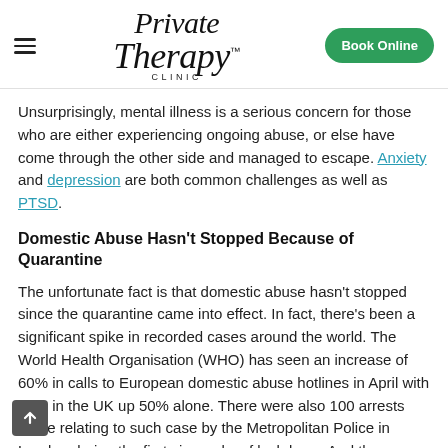Private Therapy Clinic — Book Online
Unsurprisingly, mental illness is a serious concern for those who are either experiencing ongoing abuse, or else have come through the other side and managed to escape. Anxiety and depression are both common challenges as well as PTSD.
Domestic Abuse Hasn't Stopped Because of Quarantine
The unfortunate fact is that domestic abuse hasn't stopped since the quarantine came into effect. In fact, there's been a significant spike in recorded cases around the world. The World Health Organisation (WHO) has seen an increase of 60% in calls to European domestic abuse hotlines in April with calls in the UK up 50% alone. There were also 100 arrests made relating to such case by the Metropolitan Police in London during the first six weeks of lockdown. And those are likely to account for just the cases that were reported. The vast majority of people who're at the mercy of an abuser suffer in